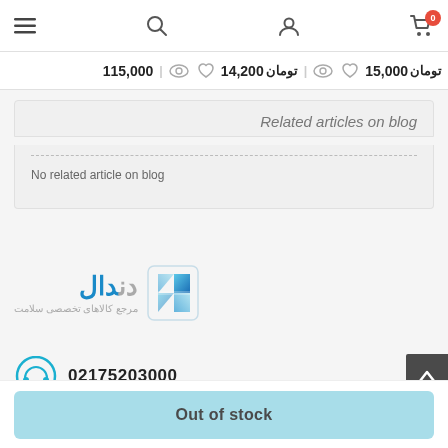Navigation bar with menu, search, user, and cart (0 items)
تومان 15,000 | تومان 14,200 | 115,000
Related articles on blog
No related article on blog
[Figure (logo): Dndal logo with Persian text مرجع کالاهای تخصصی سلامت and blue diamond icon]
02175203000
Out of stock